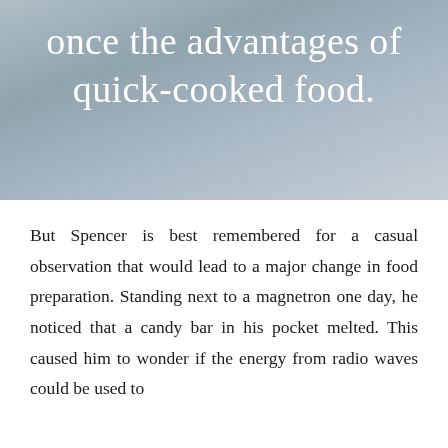[Figure (photo): A blueish-grey sky background with large white text overlaid reading 'once the advantages of quick-cooked food.']
once the advantages of quick-cooked food.
But Spencer is best remembered for a casual observation that would lead to a major change in food preparation. Standing next to a magnetron one day, he noticed that a candy bar in his pocket melted. This caused him to wonder if the energy from radio waves could be used to